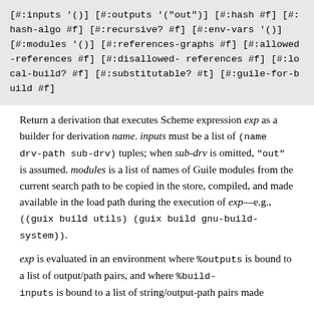[#:inputs '()] [#:outputs '("out")] [#:hash #f] [#:hash-algo #f] [#:recursive? #f] [#:env-vars '()] [#:modules '()] [#:references-graphs #f] [#:allowed-references #f] [#:disallowed-references #f] [#:local-build? #f] [#:substitutable? #t] [#:guile-for-build #f]
Return a derivation that executes Scheme expression exp as a builder for derivation name. inputs must be a list of (name drv-path sub-drv) tuples; when sub-drv is omitted, "out" is assumed. modules is a list of names of Guile modules from the current search path to be copied in the store, compiled, and made available in the load path during the execution of exp—e.g., ((guix build utils) (guix build gnu-build-system)).
exp is evaluated in an environment where %outputs is bound to a list of output/path pairs, and where %build-inputs is bound to a list of string/output-path pairs made